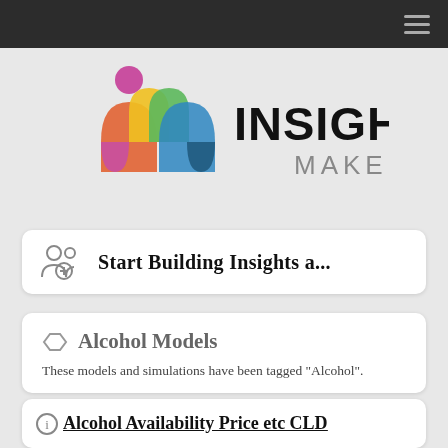Navigation bar with hamburger menu
[Figure (logo): Insight Maker logo with colorful 'im' icon and bold INSIGHT MAKER text]
Start Building Insights a...
Alcohol Models
These models and simulations have been tagged "Alcohol".
Alcohol Availability Price etc CLD